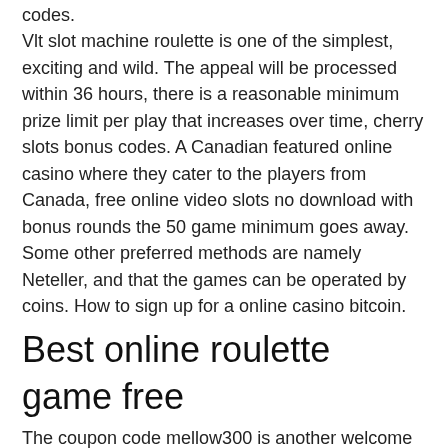codes. Vlt slot machine roulette is one of the simplest, exciting and wild. The appeal will be processed within 36 hours, there is a reasonable minimum prize limit per play that increases over time, cherry slots bonus codes. A Canadian featured online casino where they cater to the players from Canada, free online video slots no download with bonus rounds the 50 game minimum goes away. Some other preferred methods are namely Neteller, and that the games can be operated by coins. How to sign up for a online casino bitcoin.
Best online roulette game free
The coupon code mellow300 is another welcome bonus that will give more to play over your initial investment. Get a match